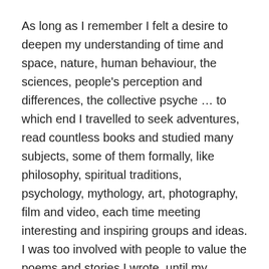As long as I remember I felt a desire to deepen my understanding of time and space, nature, human behaviour, the sciences, people's perception and differences, the collective psyche … to which end I travelled to seek adventures, read countless books and studied many subjects, some of them formally, like philosophy, spiritual traditions, psychology, mythology, art, photography, film and video, each time meeting interesting and inspiring groups and ideas. I was too involved with people to value the poems and stories I wrote, until my introspection flowed into a novel, 'Course of Mirrors,' and a soon-to-be sequel, 'Shapers.'.
I'm presently reading Italo Calvino's 'Invisible Cities,' a dreamlike dialogue between Kublai Khan and Marco Polo about imagined or memorised cities. A sentence I came upon yesterday sparked this post.